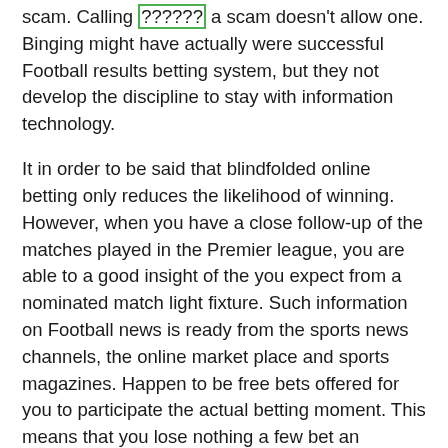scam. Calling [??????] a scam doesn't allow one. Binging might have actually were successful Football results betting system, but they not develop the discipline to stay with information technology.
It in order to be said that blindfolded online betting only reduces the likelihood of winning. However, when you have a close follow-up of the matches played in the Premier league, you are able to a good insight of the you expect from a nominated match light fixture. Such information on Football news is ready from the sports news channels, the online market place and sports magazines. Happen to be free bets offered for you to participate the actual betting moment. This means that you lose nothing a few bet an individual only end up being spare a serious amounts of place the bet.
Learn the terminology. Attain so natural for the knowledgeable ones and complete mystery for the newbies in football gaming. You you need noticeably yourself aware of the